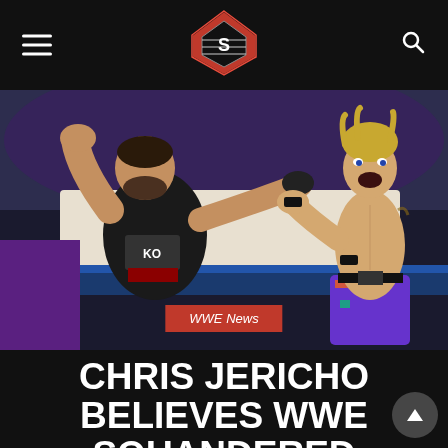WWE News wrestling website header with logo
[Figure (photo): Two professional wrestlers in a WWE ring — a heavier man in a black tank top on the left and a shirtless man in colorful trunks on the right, both in confrontational poses at WrestleMania 33]
WWE News
CHRIS JERICHO BELIEVES WWE SQUANDERED WRESTLEMANIA 33